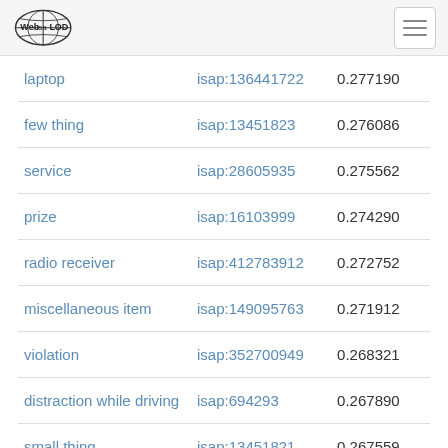Web isa LOD
|  |  |  |
| --- | --- | --- |
| laptop | isap:136441722 | 0.277190 |
| few thing | isap:13451823 | 0.276086 |
| service | isap:28605935 | 0.275562 |
| prize | isap:16103999 | 0.274290 |
| radio receiver | isap:412783912 | 0.272752 |
| miscellaneous item | isap:149095763 | 0.271912 |
| violation | isap:352700949 | 0.268321 |
| distraction while driving | isap:694293 | 0.267890 |
| small thing | isap:13451821 | 0.267559 |